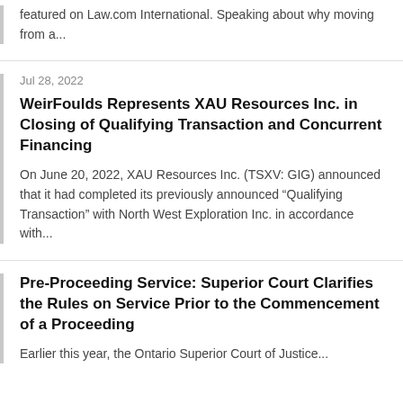featured on Law.com International. Speaking about why moving from a...
Jul 28, 2022
WeirFoulds Represents XAU Resources Inc. in Closing of Qualifying Transaction and Concurrent Financing
On June 20, 2022, XAU Resources Inc. (TSXV: GIG) announced that it had completed its previously announced “Qualifying Transaction” with North West Exploration Inc. in accordance with...
Pre-Proceeding Service: Superior Court Clarifies the Rules on Service Prior to the Commencement of a Proceeding
Earlier this year, the Ontario Superior Court of Justice...